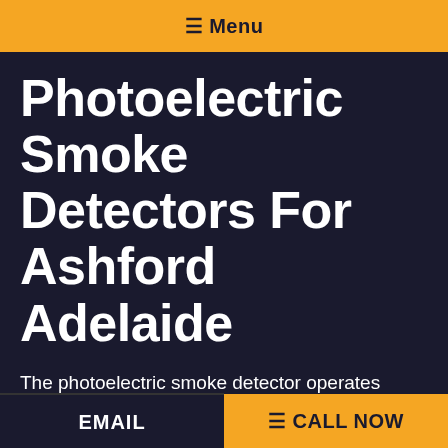☰ Menu
Photoelectric Smoke Detectors For Ashford Adelaide
The photoelectric smoke detector operates using mild. It has a small internal light source that is triggered when the alarm notes too little light. This kind of detector is beneficial because it can detect smoke in different situations, such as from a burning mattress or objects which are only beginning to burn. It may also identify
EMAIL  ☰ CALL NOW